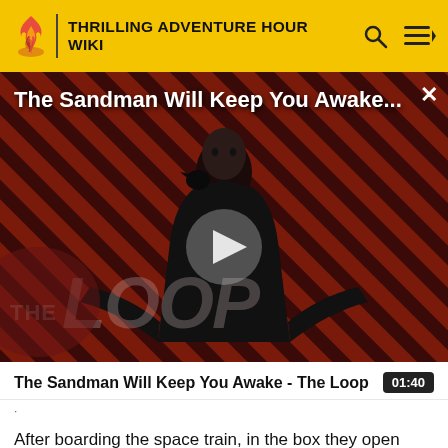THRILLING ADVENTURE HOUR WIKI
[Figure (screenshot): Video thumbnail showing a dark-cloaked figure against a diagonal red and black striped background with 'THE LOOP' watermark and a play button overlay. Title overlay reads 'The Sandman Will Keep You Awake...']
The Sandman Will Keep You Awake - The Loop
01:40
After boarding the space train, in the box they open expecting to find unobtainergon cubes, instead they find